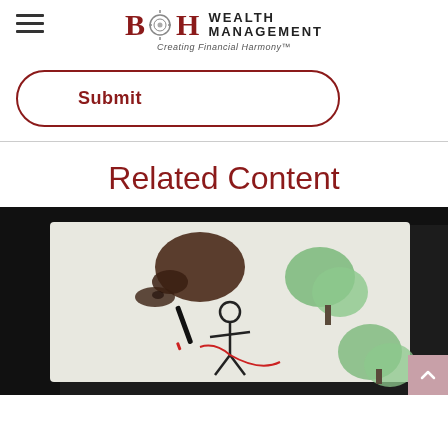B&H Wealth Management — Creating Financial Harmony
Submit
Related Content
[Figure (photo): A hand drawing stick figures and green trees on a tablet or drawing board, viewed at an angle from above. The image is dark-toned with the drawing surface illuminated.]